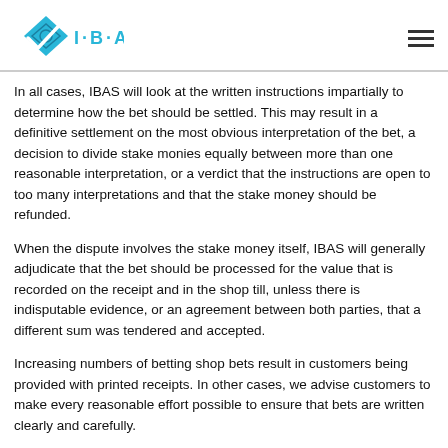IBAS
In all cases, IBAS will look at the written instructions impartially to determine how the bet should be settled. This may result in a definitive settlement on the most obvious interpretation of the bet, a decision to divide stake monies equally between more than one reasonable interpretation, or a verdict that the instructions are open to too many interpretations and that the stake money should be refunded.
When the dispute involves the stake money itself, IBAS will generally adjudicate that the bet should be processed for the value that is recorded on the receipt and in the shop till, unless there is indisputable evidence, or an agreement between both parties, that a different sum was tendered and accepted.
Increasing numbers of betting shop bets result in customers being provided with printed receipts. In other cases, we advise customers to make every reasonable effort possible to ensure that bets are written clearly and carefully.
Although writing numbers (instead of names) can be quicker and easier for horse and greyhound selections, we strongly advise anyone using numbers to take just a few extra seconds to ensure that time and meeting for the intended race are both correct before approaching the till. If the selections are written